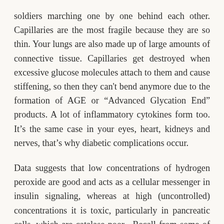soldiers marching one by one behind each other. Capillaries are the most fragile because they are so thin. Your lungs are also made up of large amounts of connective tissue. Capillaries get destroyed when excessive glucose molecules attach to them and cause stiffening, so then they can't bend anymore due to the formation of AGE or “Advanced Glycation End” products. A lot of inflammatory cytokines form too. It’s the same case in your eyes, heart, kidneys and nerves, that’s why diabetic complications occur.
Data suggests that low concentrations of hydrogen peroxide are good and acts as a cellular messenger in insulin signaling, whereas at high (uncontrolled) concentrations it is toxic, particularly in pancreatic cells, which are catalase poor. Recall from some of my recent articles that Catalase is a liver enzyme we make (also sold as a dietary supplement) which has the ability to